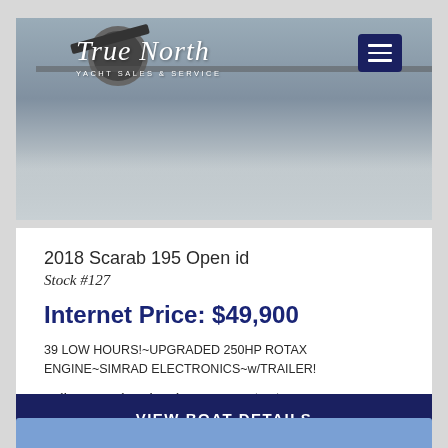[Figure (photo): Photo of a boat on a trailer in a yard, viewed from above/side, gray concrete surface visible. True North Yacht Sales & Service logo overlaid in top-left, hamburger menu button in top-right corner.]
2018 Scarab 195 Open id
Stock #127
Internet Price: $49,900
39 LOW HOURS!~UPGRADED 250HP ROTAX ENGINE~SIMRAD ELECTRONICS~w/TRAILER!
Call True North Yacht Sales & Service: (419) 626-0883
VIEW BOAT DETAILS
[Figure (screenshot): Bottom portion of next listing card showing a blue/light-blue header area, partially visible at bottom of page.]